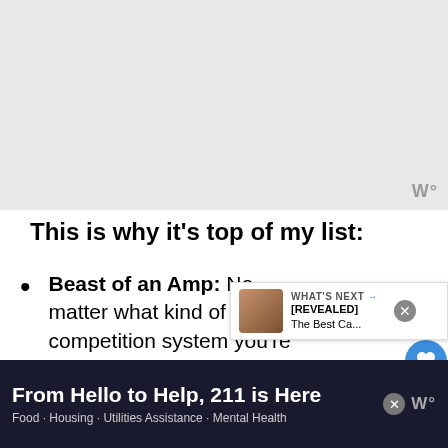[Figure (other): Gray advertisement banner area at top of page with small logo watermark 'W°' in bottom right corner]
This is why it's top of my list:
Beast of an Amp: No matter what kind of competition system you're putting together, this sub can handle whatever you can throw at it
Is it getting louder? After a while, it gets so loud that you can't hear the difference, so focus on the
[Figure (other): Promotional overlay showing WHAT'S NEXT arrow, thumbnail photo of a woman, and text '[REVEALED] The Best Ca...']
From Hello to Help, 211 is Here
Food · Housing · Utilities Assistance · Mental Health